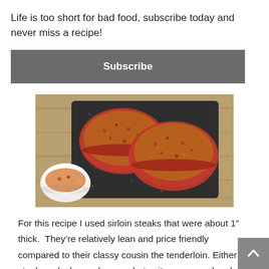Life is too short for bad food, subscribe today and never miss a recipe!
Subscribe
[Figure (photo): Two seasoned raw sirloin steaks coated in spice rub on a dark cutting board, with a small white bowl of spice rub in the lower left corner, on a wooden surface.]
For this recipe I used sirloin steaks that were about 1” thick.  They’re relatively lean and price friendly compared to their classy cousin the tenderloin. Either steak works here, choose what suits your mood and